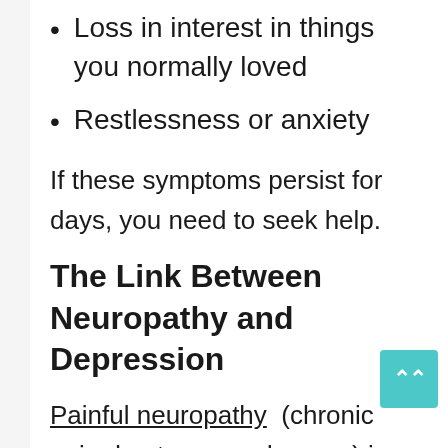Loss in interest in things you normally loved
Restlessness or anxiety
If these symptoms persist for days, you need to seek help.
The Link Between Neuropathy and Depression
Painful neuropathy (chronic pain due to nerve damage) is capable of increasing the chance of developing